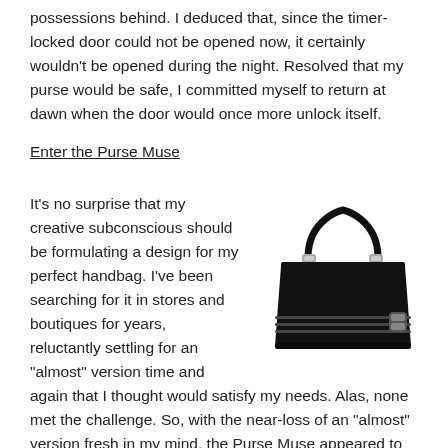possessions behind. I deduced that, since the timer-locked door could not be opened now, it certainly wouldn't be opened during the night. Resolved that my purse would be safe, I committed myself to return at dawn when the door would once more unlock itself.
Enter the Purse Muse
It’s no surprise that my creative subconscious should be formulating a design for my perfect handbag. I’ve been searching for it in stores and boutiques for years, reluctantly settling for an “almost” version time and again that I thought would satisfy my needs. Alas, none met the challenge. So, with the near-loss of an “almost” version fresh in my mind, the Purse Muse appeared to solve the challenge.
[Figure (illustration): Black silhouette illustration of a structured handbag with two handles and decorative hardware details]
I awoke with a pattern and overall design clearly placed in my